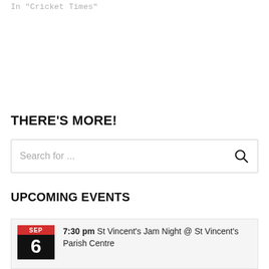In "Cricket Times"
THERE'S MORE!
Search for ...
UPCOMING EVENTS
7:30 pm St Vincent's Jam Night @ St Vincent's Parish Centre